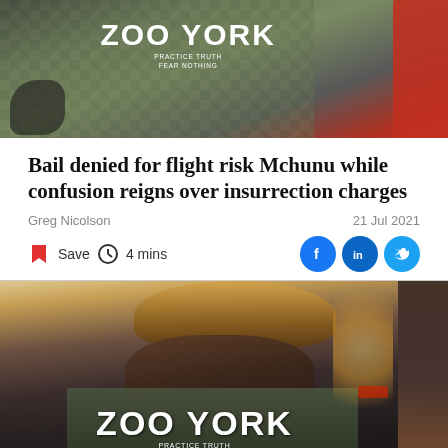[Figure (photo): Top cropped photo showing a person wearing a camouflage Zoo York t-shirt with text 'PRACTICE TRUTH FEAR NOTHING', with a red-clothed figure partially visible on the right]
Bail denied for flight risk Mchunu while confusion reigns over insurrection charges
Greg Nicolson
21 Jul 2021
Save   4 mins
[Figure (photo): Photo of a man wearing a leopard-print hat and camouflage Zoo York t-shirt with text 'PRACTICE TRUTH', speaking or shouting, with a phone being held up on the right side and cars visible in the background]